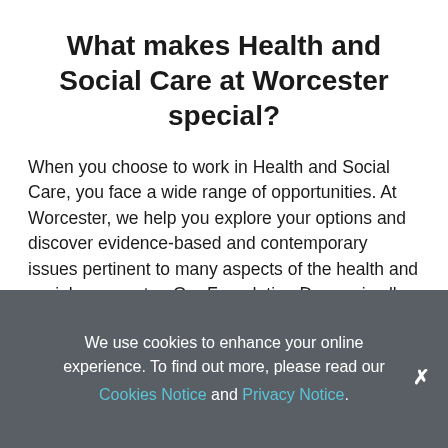What makes Health and Social Care at Worcester special?
When you choose to work in Health and Social Care, you face a wide range of opportunities. At Worcester, we help you explore your options and discover evidence-based and contemporary issues pertinent to many aspects of the health and social care sector. Our Foundation Degree is all about experiencing a variety of roles and supports students in developing skills including reflective practice
We use cookies to enhance your online experience. To find out more, please read our Cookies Notice and Privacy Notice.